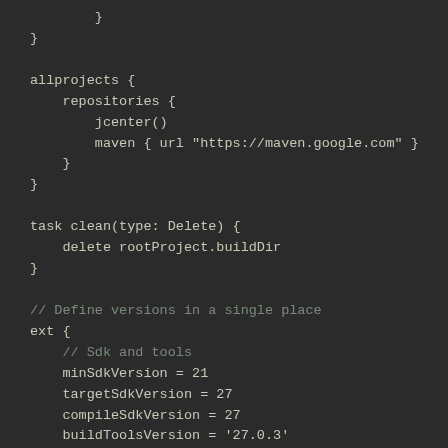}
}

allprojects {
    repositories {
        jcenter()
        maven { url "https://maven.google.com" }
    }
}

task clean(type: Delete) {
    delete rootProject.buildDir
}

// Define versions in a single place
ext {
    // Sdk and tools
    minSdkVersion = 21
    targetSdkVersion = 27
    compileSdkVersion = 27
    buildToolsVersion = '27.0.3'